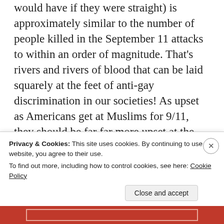would have if they were straight) is approximately similar to the number of people killed in the September 11 attacks to within an order of magnitude. That's rivers and rivers of blood that can be laid squarely at the feet of anti-gay discrimination in our societies! As upset as Americans get at Muslims for 9/11, they should be far far more upset at the anti-gay Christians in their society for killing at lot more of their own than the Muslims ever did. Let's be very clear: Being anti-gay and suppressing that
Privacy & Cookies: This site uses cookies. By continuing to use this website, you agree to their use.
To find out more, including how to control cookies, see here: Cookie Policy
Close and accept